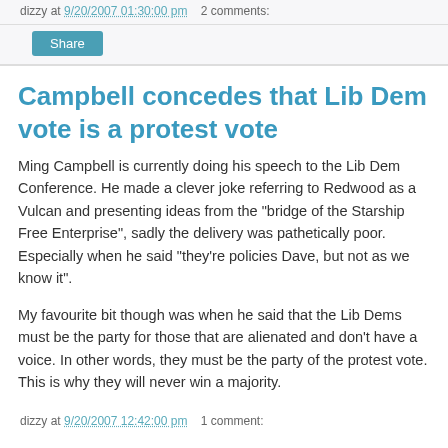dizzy at 9/20/2007 01:30:00 pm   2 comments:
Share
Campbell concedes that Lib Dem vote is a protest vote
Ming Campbell is currently doing his speech to the Lib Dem Conference. He made a clever joke referring to Redwood as a Vulcan and presenting ideas from the "bridge of the Starship Free Enterprise", sadly the delivery was pathetically poor. Especially when he said "they're policies Dave, but not as we know it".
My favourite bit though was when he said that the Lib Dems must be the party for those that are alienated and don't have a voice. In other words, they must be the party of the protest vote. This is why they will never win a majority.
dizzy at 9/20/2007 12:42:00 pm   1 comment: